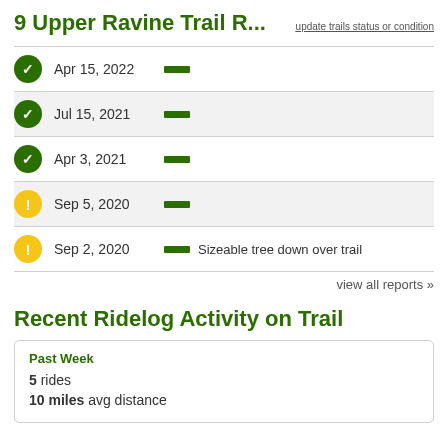9 Upper Ravine Trail R...
update trails status or condition
Apr 15, 2022
Jul 15, 2021
Apr 3, 2021
Sep 5, 2020
Sep 2, 2020 — Sizeable tree down over trail
view all reports »
Recent Ridelog Activity on Trail
Past Week
5 rides
10 miles avg distance